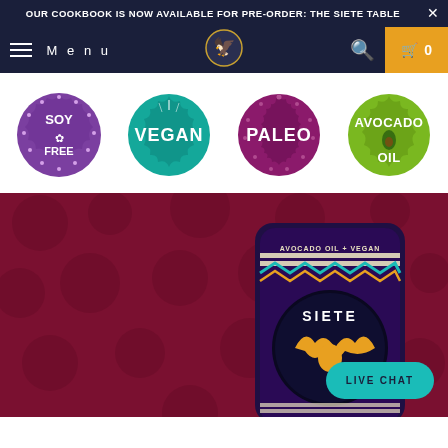OUR COOKBOOK IS NOW AVAILABLE FOR PRE-ORDER: THE SIETE TABLE
[Figure (screenshot): Website navigation bar with hamburger menu, 'Menu' text, Siete logo, search icon, and cart button with 0 items]
[Figure (infographic): Four circular badge icons: Soy Free (purple), Vegan (teal), Paleo (dark purple/magenta), Avocado Oil (green)]
[Figure (photo): Siete brand snack bag on dark red/maroon patterned background with Siete eagle logo. Bag reads AVOCADO OIL + VEGAN at top and SIETE in large letters]
LIVE CHAT